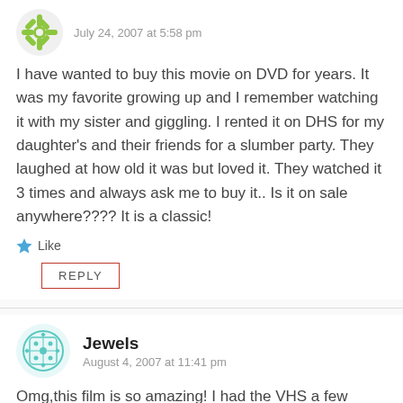[Figure (illustration): Green snowflake/flower avatar icon]
July 24, 2007 at 5:58 pm
I have wanted to buy this movie on DVD for years. It was my favorite growing up and I remember watching it with my sister and giggling. I rented it on DHS for my daughter's and their friends for a slumber party. They laughed at how old it was but loved it. They watched it 3 times and always ask me to buy it.. Is it on sale anywhere???? It is a classic!
Like
REPLY
[Figure (illustration): Teal/cyan geometric pattern avatar icon for Jewels]
Jewels
August 4, 2007 at 11:41 pm
Omg,this film is so amazing! I had the VHS a few years ago and then I lost it when I moved! I was so upset and I spent several years trying to find it..I have DVR on my cable box